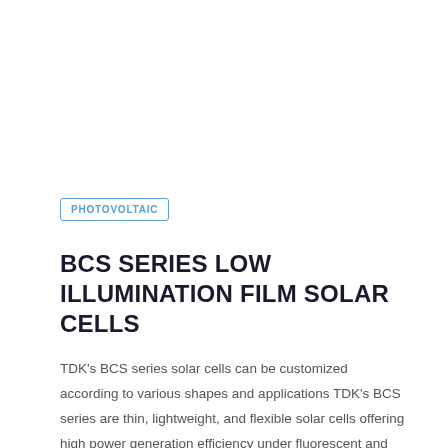PHOTOVOLTAIC
BCS SERIES LOW ILLUMINATION FILM SOLAR CELLS
TDK's BCS series solar cells can be customized according to various shapes and applications TDK's BCS series are thin, lightweight, and flexible solar cells offering high power generation efficiency under fluorescent and LED light sources. The cells are made of amorphous silicon…